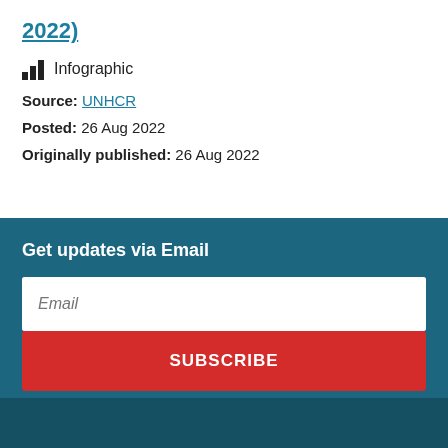2022)
Infographic
Source: UNHCR
Posted: 26 Aug 2022
Originally published: 26 Aug 2022
Get updates via Email
Email
SUBSCRIBE